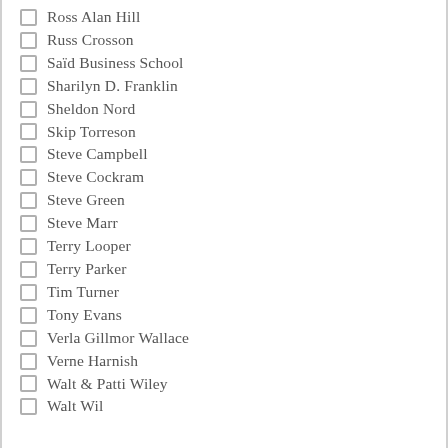Ross Alan Hill
Russ Crosson
Saïd Business School
Sharilyn D. Franklin
Sheldon Nord
Skip Torreson
Steve Campbell
Steve Cockram
Steve Green
Steve Marr
Terry Looper
Terry Parker
Tim Turner
Tony Evans
Verla Gillmor Wallace
Verne Harnish
Walt & Patti Wiley
Walt Wil…